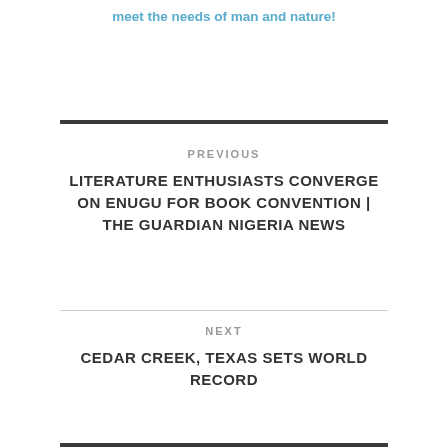meet the needs of man and nature!
PREVIOUS
LITERATURE ENTHUSIASTS CONVERGE ON ENUGU FOR BOOK CONVENTION | THE GUARDIAN NIGERIA NEWS
NEXT
CEDAR CREEK, TEXAS SETS WORLD RECORD